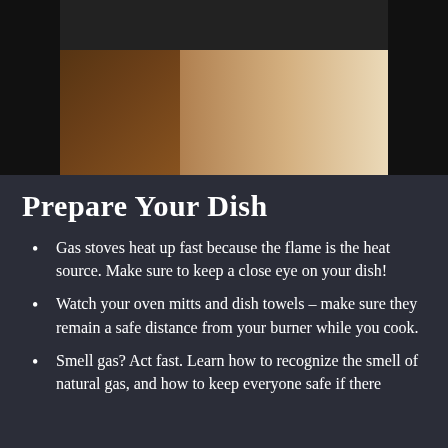[Figure (photo): A blurred photo showing a dark wooden table surface with what appears to be cooking-related items, dark background at top]
Prepare Your Dish
Gas stoves heat up fast because the flame is the heat source. Make sure to keep a close eye on your dish!
Watch your oven mitts and dish towels – make sure they remain a safe distance from your burner while you cook.
Smell gas? Act fast. Learn how to recognize the smell of natural gas, and how to keep everyone safe if there